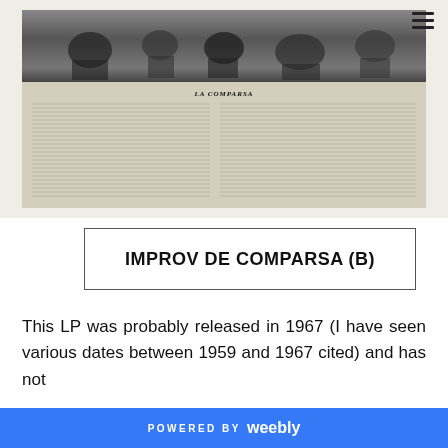[Figure (photo): Scanned LP liner note page for 'La Comparsa' showing a black and white photo strip of musicians at top, and two columns of French text describing the comparsa dance tradition below the photo.]
IMPROV DE COMPARSA (B)
This LP was probably released in 1967 (I have seen various dates between 1959 and 1967 cited) and has not
POWERED BY weebly